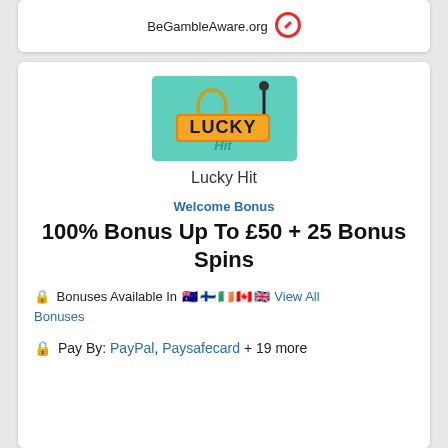[Figure (logo): BeGambleAware.org logo with red circle icon in top card]
[Figure (logo): Lucky Hit casino logo - teal/mint green square with slot machine style LUCKY HIT text]
Lucky Hit
Welcome Bonus
100% Bonus Up To £50 + 25 Bonus Spins
🔒 Bonuses Available In 🇦🇺 🇫🇮 🇮🇪 🇨🇦 🇬🇧 View All Bonuses
🔒 Pay By: PayPal, Paysafecard + 19 more